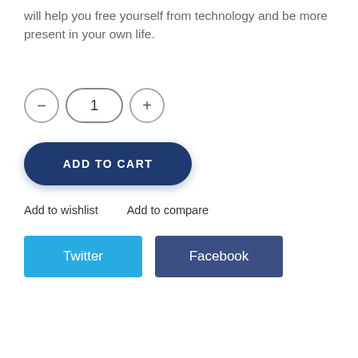will help you free yourself from technology and be more present in your own life.
[Figure (screenshot): Quantity selector with minus button, value 1, and plus button]
[Figure (screenshot): ADD TO CART button, dark navy blue rounded pill shape]
Add to wishlist    Add to compare
[Figure (screenshot): Twitter button (blue) and Facebook button (dark blue)]
| Book Title | Off: Your Digital Detox for a Better Life |
| Author | Tanya Goodin |